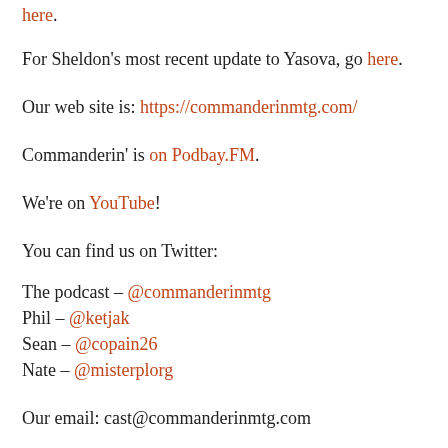here.
For Sheldon's most recent update to Yasova, go here.
Our web site is: https://commanderinmtg.com/
Commanderin' is on Podbay.FM.
We're on YouTube!
You can find us on Twitter:
The podcast – @commanderinmtg
Phil – @ketjak
Sean – @copain26
Nate – @misterplorg
Our email: cast@commanderinmtg.com
Our Skype address is: commanderin.mtg.podcast